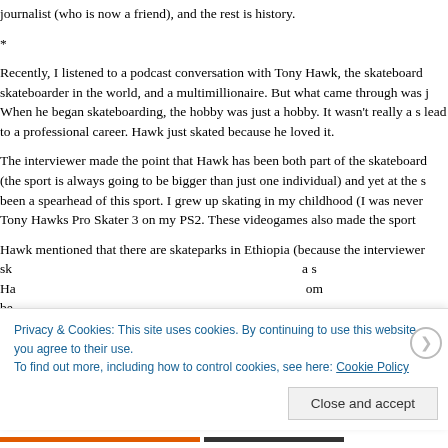journalist (who is now a friend), and the rest is history.
*
Recently, I listened to a podcast conversation with Tony Hawk, the skateboard skateboarder in the world, and a multimillionaire. But what came through was j When he began skateboarding, the hobby was just a hobby. It wasn't really a s lead to a professional career. Hawk just skated because he loved it.
The interviewer made the point that Hawk has been both part of the skateboard (the sport is always going to be bigger than just one individual) and yet at the s been a spearhead of this sport. I grew up skating in my childhood (I was never Tony Hawks Pro Skater 3 on my PS2. These videogames also made the sport
Hawk mentioned that there are skateparks in Ethiopia (because the interviewer sk Ha be
Privacy & Cookies: This site uses cookies. By continuing to use this website, you agree to their use.
To find out more, including how to control cookies, see here: Cookie Policy
Close and accept